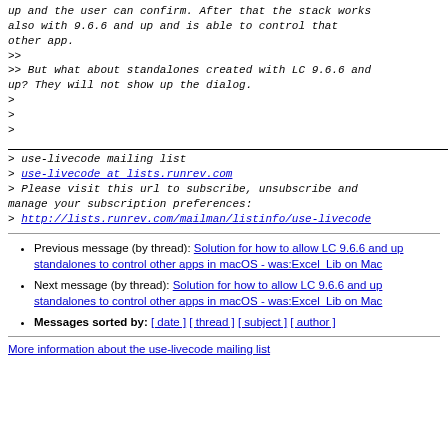up and the user can confirm. After that the stack works also with 9.6.6 and up and is able to control that other app.
>>
>> But what about standalones created with LC 9.6.6 and up? They will not show up the dialog.
>
>
> _______________________________________________
> use-livecode mailing list
> use-livecode at lists.runrev.com
> Please visit this url to subscribe, unsubscribe and manage your subscription preferences:
> http://lists.runrev.com/mailman/listinfo/use-livecode
Previous message (by thread): Solution for how to allow LC 9.6.6 and up standalones to control other apps in macOS - was:Excel  Lib on Mac
Next message (by thread): Solution for how to allow LC 9.6.6 and up standalones to control other apps in macOS - was:Excel  Lib on Mac
Messages sorted by: [ date ] [ thread ] [ subject ] [ author ]
More information about the use-livecode mailing list